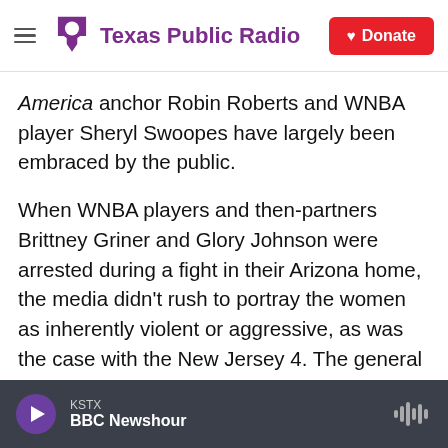Texas Public Radio — Donate
America anchor Robin Roberts and WNBA player Sheryl Swoopes have largely been embraced by the public.
When WNBA players and then-partners Brittney Griner and Glory Johnson were arrested during a fight in their Arizona home, the media didn't rush to portray the women as inherently violent or aggressive, as was the case with the New Jersey 4. The general tone could instead be categorized as concerned, if somewhat condescending, as captured in an ESPN headline: "How Brittney Griner Acts Is More Important Than How She Plays."
KSTX — BBC Newshour